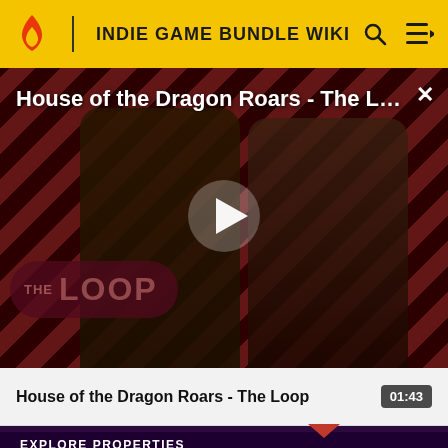INDIE GAME BUNDLE WIKI
[Figure (screenshot): Video thumbnail for 'House of the Dragon Roars - The Loop' showing two characters from House of the Dragon against a diagonal red and black striped background, with a play button in the center and 'THE LOOP' logo overlay in the bottom left.]
House of the Dragon Roars - The L…
01:43
EXPLORE PROPERTIES
Fandom
Futhead